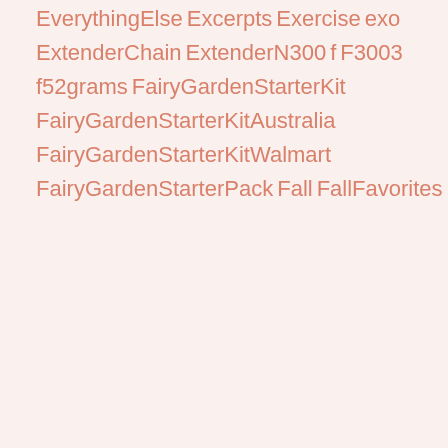EverythingElse
Excerpts
Exercise
exo
ExtenderChain
ExtenderN300
f
F3003
f52grams
FairyGardenStarterKit
FairyGardenStarterKitAustralia
FairyGardenStarterKitWalmart
FairyGardenStarterPack
Fall
FallFavorites